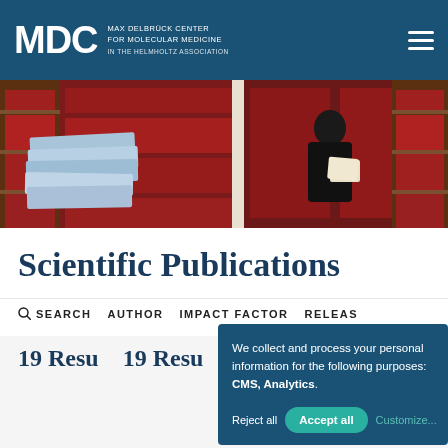MDC MAX DELBRÜCK CENTER FOR MOLECULAR MEDICINE IN THE HELMHOLTZ ASSOCIATION
[Figure (photo): Library scene with stacked blue binders/books on the left and a person in black clothing reading papers in the background among red file folders on shelves.]
Scientific Publications
SEARCH  AUTHOR  IMPACT FACTOR  RELEASE
19 Results
ACTIVE FILTERS
Herzog, Marg
Ku, Min-Chi D
We collect and process your personal information for the following purposes: CMS, Analytics.
Reject all  Accept all  Customize...